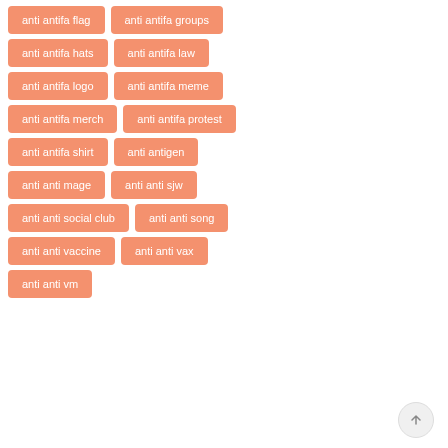anti antifa flag
anti antifa groups
anti antifa hats
anti antifa law
anti antifa logo
anti antifa meme
anti antifa merch
anti antifa protest
anti antifa shirt
anti antigen
anti anti mage
anti anti sjw
anti anti social club
anti anti song
anti anti vaccine
anti anti vax
anti anti vm